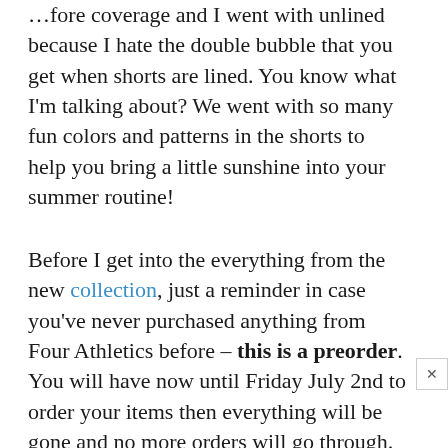…fore coverage and I went with unlined because I hate the double bubble that you get when shorts are lined. You know what I'm talking about? We went with so many fun colors and patterns in the shorts to help you bring a little sunshine into your summer routine!
Before I get into the everything from the new collection, just a reminder in case you've never purchased anything from Four Athletics before – this is a preorder. You will have now until Friday July 2nd to order your items then everything will be gone and no more orders will go through. Then your items will ship out late August to early September! Four Athletics uses a crowdfunded model so once a